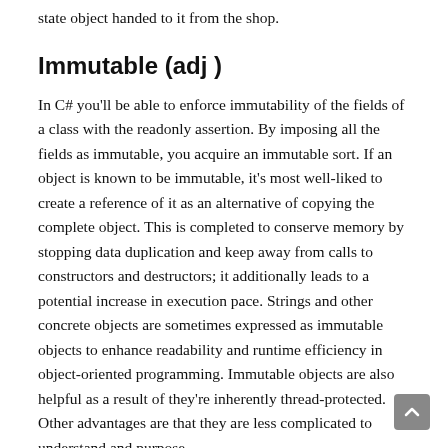state object handed to it from the shop.
Immutable (adj )
In C# you'll be able to enforce immutability of the fields of a class with the readonly assertion. By imposing all the fields as immutable, you acquire an immutable sort. If an object is known to be immutable, it's most well-liked to create a reference of it as an alternative of copying the complete object. This is completed to conserve memory by stopping data duplication and keep away from calls to constructors and destructors; it additionally leads to a potential increase in execution pace. Strings and other concrete objects are sometimes expressed as immutable objects to enhance readability and runtime efficiency in object-oriented programming. Immutable objects are also helpful as a result of they're inherently thread-protected. Other advantages are that they are less complicated to understand and purpose